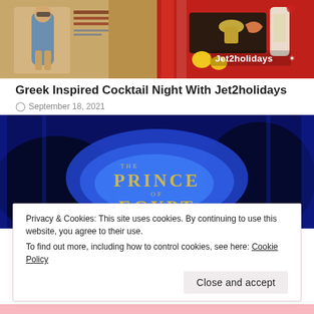[Figure (photo): Top banner image split into two halves: left shows a magazine cover with a woman in a blue swimsuit and text, right shows a red Jet2holidays branded surface with cocktail bar tools, citrus fruits, and bottles.]
Greek Inspired Cocktail Night With Jet2holidays
September 18, 2021
[Figure (photo): Dark blue theatrical image showing a stage projection or backdrop reading 'THE PRINCE OF EGYPT' in gold letters on a bright blue light against dark silhouettes.]
Privacy & Cookies: This site uses cookies. By continuing to use this website, you agree to their use.
To find out more, including how to control cookies, see here: Cookie Policy
Close and accept